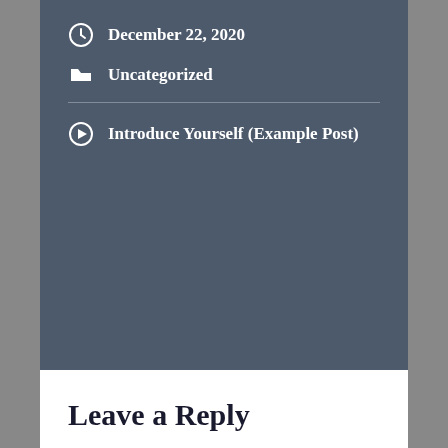December 22, 2020
Uncategorized
Introduce Yourself (Example Post)
Leave a Reply
Your email address will not be published. Required fields are marked